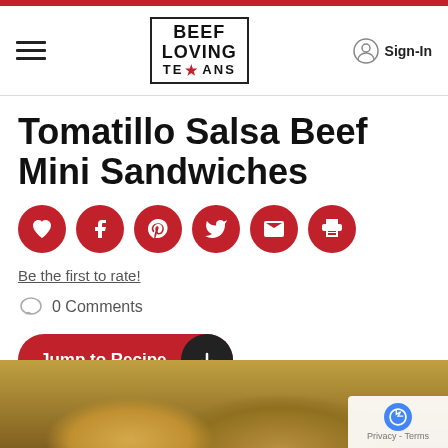Beef Loving Texans — navigation header with hamburger menu, logo, and Sign-In
Tomatillo Salsa Beef Mini Sandwiches
[Figure (infographic): Row of six red circular social sharing icons: heart (favorite), Facebook, Pinterest, Twitter, email, print]
Be the first to rate!
0 Comments
Jump to Recipe
[Figure (photo): Close-up food photo of mini beef sandwiches on buns with tomatillo salsa, blurred background]